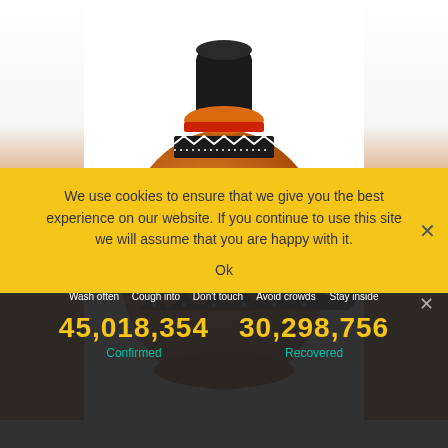[Figure (photo): Decorative orange and black painted ceramic vase with ethnic geometric patterns on a white background]
We use cookies to ensure that we give you the best experience on our website. If you continue to use this site we will assume that you are happy with it.
Ok
Spread the message. Stop the virus.
HANDS Wash often  ELBOW Cough into  FACE Don't touch  SPACE Avoid crowds  HOME Stay inside
45,018,354
Confirmed
30,298,756
Recovered